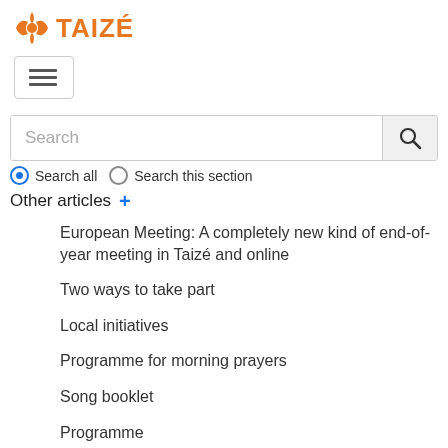[Figure (logo): Taizé logo with orange cross/bird icon and orange bold text 'TAIZÉ']
[Figure (screenshot): Hamburger menu button (three horizontal lines) inside a rounded rectangle border]
[Figure (screenshot): Search bar with placeholder text 'Search' and a search icon button on the right]
Search all  Search this section
Other articles +
European Meeting: A completely new kind of end-of-year meeting in Taizé and online
Two ways to take part
Local initiatives
Programme for morning prayers
Song booklet
Programme